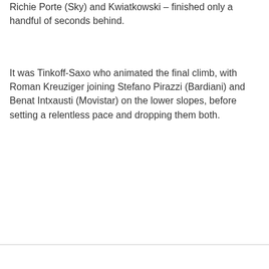Richie Porte (Sky) and Kwiatkowski – finished only a handful of seconds behind.
It was Tinkoff-Saxo who animated the final climb, with Roman Kreuziger joining Stefano Pirazzi (Bardiani) and Benat Intxausti (Movistar) on the lower slopes, before setting a relentless pace and dropping them both.